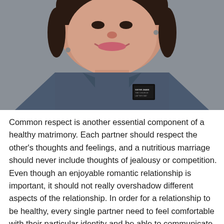[Figure (photo): Portrait photo of a smiling woman with dark hair wearing a dark blue denim shirt and a name badge, photographed against a gray background.]
Common respect is another essential component of a healthy matrimony. Each partner should respect the other's thoughts and feelings, and a nutritious marriage should never include thoughts of jealousy or competition. Even though an enjoyable romantic relationship is important, it should not really overshadow different aspects of the relationship. In order for a relationship to be healthy, every single partner need to feel comfortable with their particular identity and be able to communicate freely. In addition to this, the couple can express gratitude to one another and be